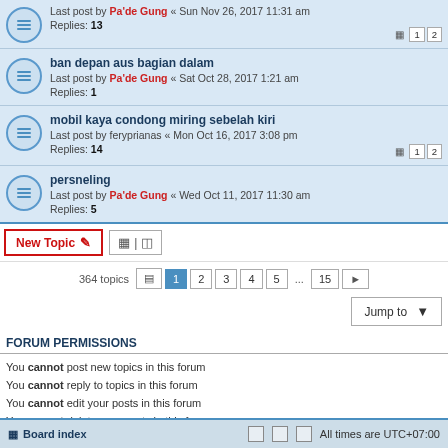Last post by Pa'de Gung « Sun Nov 26, 2017 11:31 am
Replies: 13
ban depan aus bagian dalam
Last post by Pa'de Gung « Sat Oct 28, 2017 1:21 am
Replies: 1
mobil kaya condong miring sebelah kiri
Last post by feryprianas « Mon Oct 16, 2017 3:08 pm
Replies: 14
persneling
Last post by Pa'de Gung « Wed Oct 11, 2017 11:30 am
Replies: 5
New Topic | 364 topics | 1 2 3 4 5 ... 15
Jump to
FORUM PERMISSIONS
You cannot post new topics in this forum
You cannot reply to topics in this forum
You cannot edit your posts in this forum
You cannot delete your posts in this forum
You cannot post attachments in this forum
Board index | All times are UTC+07:00